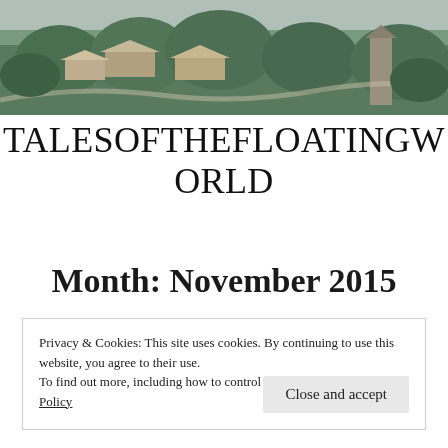[Figure (photo): Aerial photograph of a hillside village with traditional wooden buildings and lush green forest]
TALESOFTHEFLOATINGWORLD
Month: November 2015
Privacy & Cookies: This site uses cookies. By continuing to use this website, you agree to their use.
To find out more, including how to control cookies, see here: Cookie Policy
Close and accept